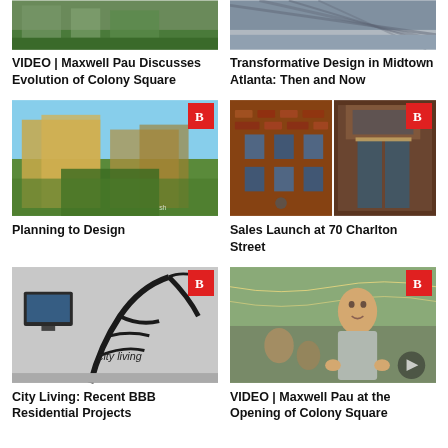[Figure (photo): Aerial view of Colony Square rooftop garden]
VIDEO | Maxwell Pau Discusses Evolution of Colony Square
[Figure (photo): Architectural glass roof detail of Midtown Atlanta building]
Transformative Design in Midtown Atlanta: Then and Now
[Figure (photo): Architectural rendering of large mixed-use urban development with greenery]
Planning to Design
[Figure (photo): Two photos: brick residential building facade and lobby entrance at 70 Charlton Street]
Sales Launch at 70 Charlton Street
[Figure (photo): Interior wall with City Living mural and TV screen]
City Living: Recent BBB Residential Projects
[Figure (photo): Maxwell Pau speaking at Colony Square opening event outdoors]
VIDEO | Maxwell Pau at the Opening of Colony Square